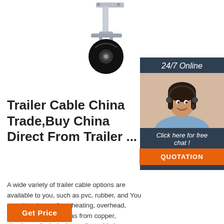[Figure (photo): A metal caster wheel / trailer jockey wheel product photo on white background, showing a swivel caster with a black rubber wheel and silver metal bracket mount.]
[Figure (photo): A sidebar advertisement panel with dark navy background showing '24/7 Online' text, a photo of a female customer service agent with headset, 'Click here for free chat!' text, and an orange QUOTATION button.]
Trailer Cable China Trade,Buy China Direct From Trailer ...
A wide variety of trailer cable options are available to you, such as pvc, rubber, and You can also choose from heating, overhead, underground. As well as from copper, aluminum. And whether trailer cable is stranded. There are 11,306 trailer cable suppliers, mainly located in Asia.
[Figure (other): Orange 'Get Price' button at bottom left.]